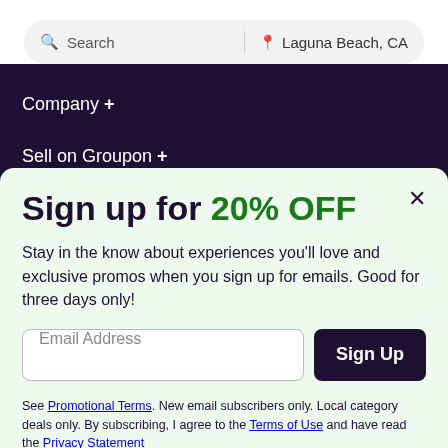[Figure (screenshot): Search bar with search icon and 'Search' placeholder on the left, a vertical divider, a location pin icon and 'Laguna Beach, CA' on the right, set in a rounded rectangle on a white background.]
Company +
Sell on Groupon +
Sign up for 20% OFF
Stay in the know about experiences you'll love and exclusive promos when you sign up for emails. Good for three days only!
Email Address  Sign Up
See Promotional Terms. New email subscribers only. Local category deals only. By subscribing, I agree to the Terms of Use and have read the Privacy Statement